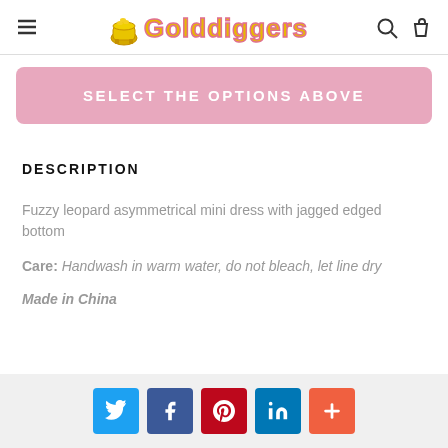Golddiggers
SELECT THE OPTIONS ABOVE
DESCRIPTION
Fuzzy leopard asymmetrical mini dress with jagged edged bottom
Care: Handwash in warm water, do not bleach, let line dry
Made in China
Social share buttons: Twitter, Facebook, Pinterest, LinkedIn, More